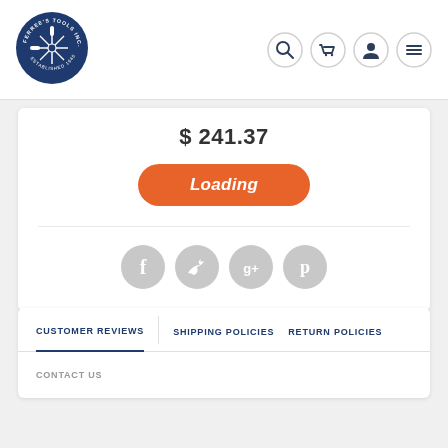[Figure (logo): Ferree's Tools Inc. circular logo with dark navy blue background, white text around the circle and tools illustration in the center]
$ 241.37
Loading
[Figure (illustration): Four social media icons: Facebook (f), Twitter (bird), Google+ (g+), Pinterest (p) — all in light grey circles]
CUSTOMER REVIEWS
SHIPPING POLICIES
RETURN POLICIES
CONTACT US